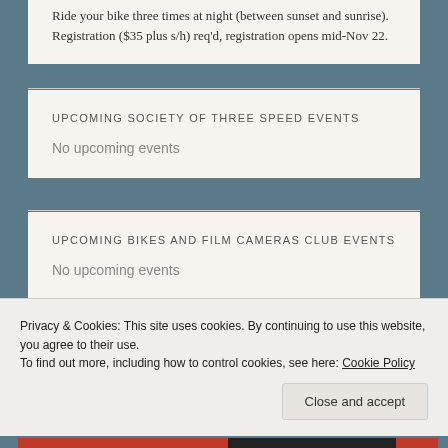Ride your bike three times at night (between sunset and sunrise). Registration ($35 plus s/h) req'd, registration opens mid-Nov 22.
UPCOMING SOCIETY OF THREE SPEED EVENTS
No upcoming events
UPCOMING BIKES AND FILM CAMERAS CLUB EVENTS
No upcoming events
Advertisements
Privacy & Cookies: This site uses cookies. By continuing to use this website, you agree to their use.
To find out more, including how to control cookies, see here: Cookie Policy
Close and accept